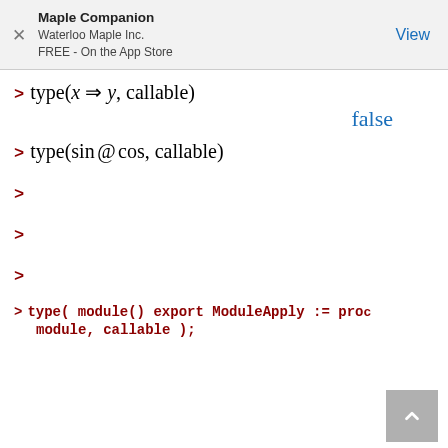Maple Companion
Waterloo Maple Inc.
FREE - On the App Store
false
>
>
>